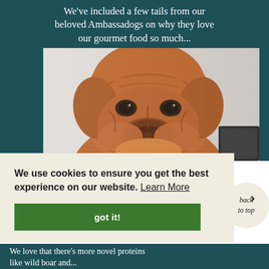We've included a few tails from our beloved Ambassadogs on why they love our gourmet food so much...
[Figure (photo): Close-up portrait of a large brown Dogue de Bordeaux (French Mastiff) dog with wrinkled face looking at camera, with a dark box partially visible in the background against a light wall.]
We use cookies to ensure you get the best experience on our website. Learn More
got it!
back to top
We love that there's more novel proteins like wild boar and...